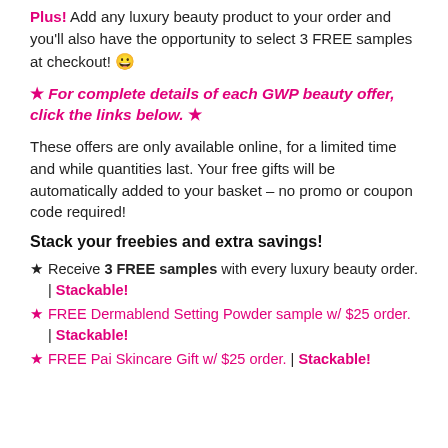Plus! Add any luxury beauty product to your order and you'll also have the opportunity to select 3 FREE samples at checkout! 😀
★ For complete details of each GWP beauty offer, click the links below. ★
These offers are only available online, for a limited time and while quantities last. Your free gifts will be automatically added to your basket – no promo or coupon code required!
Stack your freebies and extra savings!
★ Receive 3 FREE samples with every luxury beauty order. | Stackable!
★ FREE Dermablend Setting Powder sample w/ $25 order. | Stackable!
★ FREE Pai Skincare Gift w/ $25 order. | Stackable!